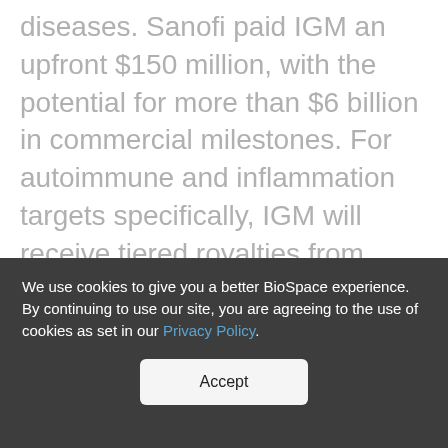diseases. Sanofi paid IGM an upfront $150 million, with the potential for more than $6 billion in commercial milestones. For autoimmune and inflammation targets specifically, IGM will receive tiered royalties from Sanofi for developments. For oncology targets, the two companies will split profits evenly. Sanofi also hinted that it may be interested in $100 of IGM non-voting common stock in public financing.
We use cookies to give you a better BioSpace experience. By continuing to use our site, you are agreeing to the use of cookies as set in our Privacy Policy.
Accept